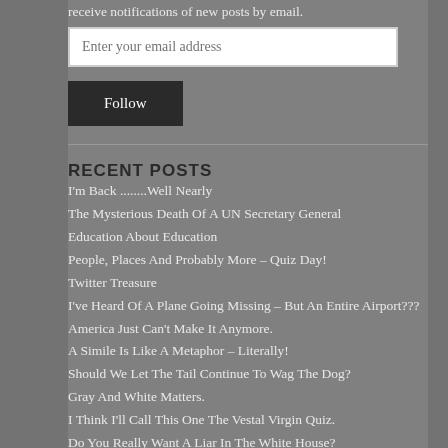receive notifications of new posts by email.
Enter your email address
Follow
RECENT POSTS
I'm Back ........Well Nearly
The Mysterious Death Of A UN Secretary General
Education About Education
People, Places And Probably More – Quiz Day!
Twitter Treasure
I've Heard Of A Plane Going Missing – But An Entire Airport???
America Just Can't Make It Anymore.
A Simile Is Like A Metaphor – Literally!
Should We Let The Tail Continue To Wag The Dog?
Gray And White Matters.
I Think I'll Call This One The Vestal Virgin Quiz.
Do You Really Want A Liar In The White House?